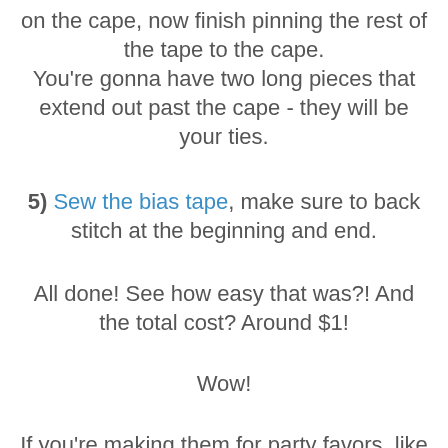on the cape, now finish pinning the rest of the tape to the cape. You're gonna have two long pieces that extend out past the cape - they will be your ties.
5) Sew the bias tape, make sure to back stitch at the beginning and end.
All done! See how easy that was?! And the total cost? Around $1!
Wow!
If you're making them for party favors, like I am, use a several colors of bias tape to create a different color combo for each cape. That way the boys will know exactly which